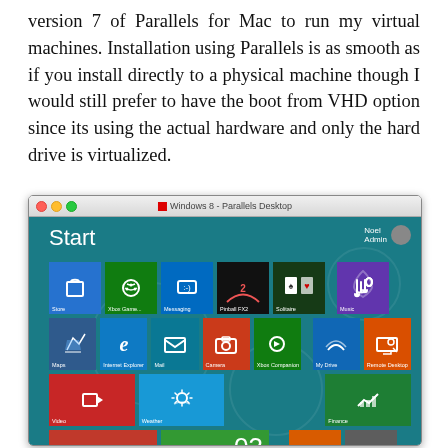version 7 of Parallels for Mac to run my virtual machines. Installation using Parallels is as smooth as if you install directly to a physical machine though I would still prefer to have the boot from VHD option since its using the actual hardware and only the hard drive is virtualized.
[Figure (screenshot): Screenshot of Windows 8 Start screen running inside Parallels Desktop on Mac. Shows the Windows 8 Metro UI with colorful tiles including Store, Xbox Game Controller, Messaging, Pinball FX2, Solitaire, Music, Maps, Internet Explorer, Mail, Camera, Xbox Companion, My Drive, Remote Desktop, Video, Weather, Finance, SkyDrive, Boards, Windows Explorer, Photos, People, Calendar showing 03, and a Books tile.]